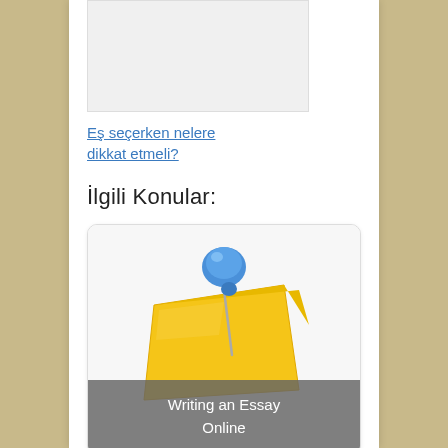[Figure (illustration): White/light gray rectangle placeholder image at top]
Eş seçerken nelere dikkat etmeli?
İlgili Konular:
[Figure (illustration): Card with blue pushpin and yellow sticky note, labeled 'Writing an Essay Online']
[Figure (illustration): Second card with blue pushpin and yellow sticky note, partially visible at bottom]